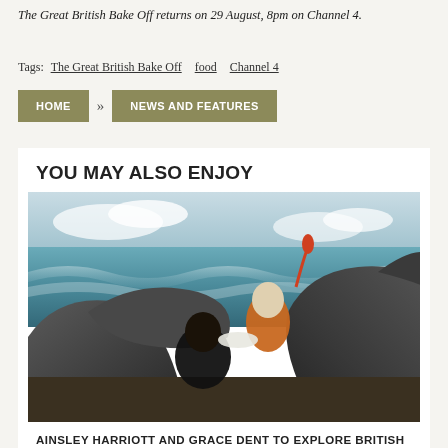The Great British Bake Off returns on 29 August, 8pm on Channel 4.
Tags:  The Great British Bake Off   food   Channel 4
HOME  »  NEWS AND FEATURES
YOU MAY ALSO ENJOY
[Figure (photo): Two people posing on rocky coastal scenery with ocean waves in the background. One person holds a plate of food, the other holds up a lobster or crayfish.]
AINSLEY HARRIOTT AND GRACE DENT TO EXPLORE BRITISH